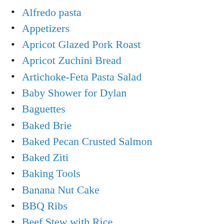Alfredo pasta
Appetizers
Apricot Glazed Pork Roast
Apricot Zuchini Bread
Artichoke-Feta Pasta Salad
Baby Shower for Dylan
Baguettes
Baked Brie
Baked Pecan Crusted Salmon
Baked Ziti
Baking Tools
Banana Nut Cake
BBQ Ribs
Beef Stew with Rice
Best Icing Ever
Birthday Dinner